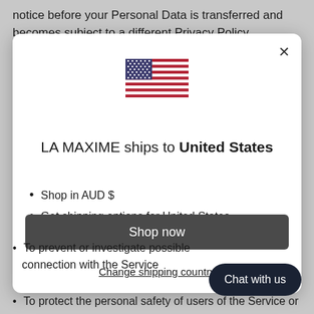notice before your Personal Data is transferred and becomes subject to a different Privacy Policy.
[Figure (screenshot): Modal dialog showing US flag with text 'LA MAXIME ships to United States', bullet points 'Shop in AUD $' and 'Get shipping options for United States', a 'Shop now' button, and a 'Change shipping country' link]
To prevent or investigate possible connection with the Service
To protect the personal safety of users of the Service or